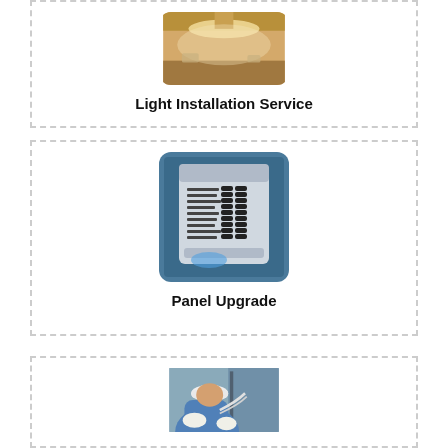[Figure (photo): Photo of light installation — warm-toned overhead lighting fixture in a room]
Light Installation Service
[Figure (photo): Photo of an electrical panel/breaker box with labeled circuit breakers]
Panel Upgrade
[Figure (photo): Photo of a technician/worker in blue shirt and white cap working on electrical or HVAC equipment]